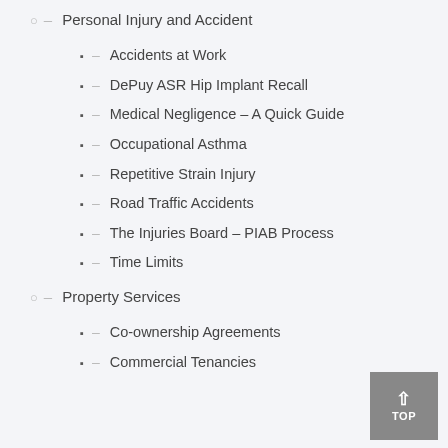Personal Injury and Accident
Accidents at Work
DePuy ASR Hip Implant Recall
Medical Negligence – A Quick Guide
Occupational Asthma
Repetitive Strain Injury
Road Traffic Accidents
The Injuries Board – PIAB Process
Time Limits
Property Services
Co-ownership Agreements
Commercial Tenancies